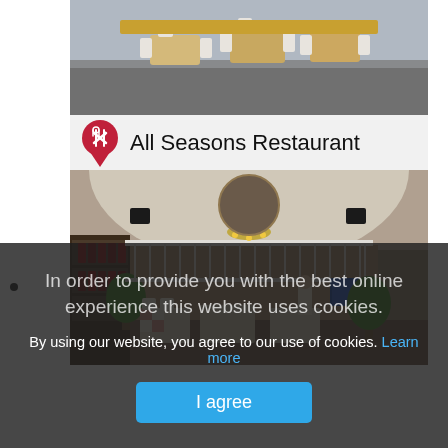[Figure (photo): Top-down view of restaurant interior with chairs and tables]
All Seasons Restaurant
[Figure (photo): Interior of All Seasons Restaurant showing vaulted ceiling, wine shelves, dining tables with checkered tablecloths, chandeliers, and plants]
In order to provide you with the best online experience this website uses cookies.
By using our website, you agree to our use of cookies. Learn more
I agree